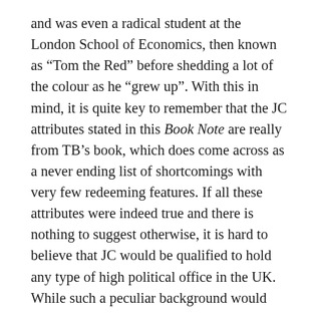and was even a radical student at the London School of Economics, then known as “Tom the Red” before shedding a lot of the colour as he “grew up”. With this in mind, it is quite key to remember that the JC attributes stated in this Book Note are really from TB’s book, which does come across as a never ending list of shortcomings with very few redeeming features. If all these attributes were indeed true and there is nothing to suggest otherwise, it is hard to believe that JC would be qualified to hold any type of high political office in the UK. While such a peculiar background would make his rise to the Labour leadership all the more surprising, it may also be linked to his core skill of artful insider’s political party maneuvering, which to some may indeed be JC’s only skillset since he entered politics as a radical youth.